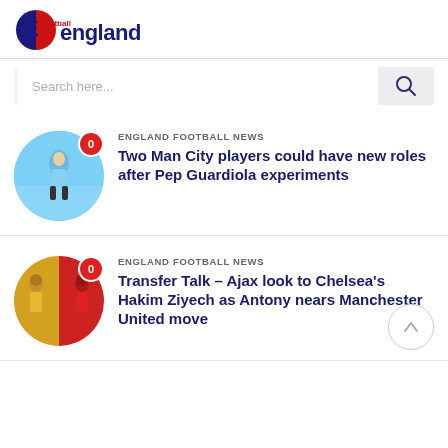football england
Search here...
ENGLAND FOOTBALL NEWS
Two Man City players could have new roles after Pep Guardiola experiments
ENGLAND FOOTBALL NEWS
Transfer Talk – Ajax look to Chelsea's Hakim Ziyech as Antony nears Manchester United move